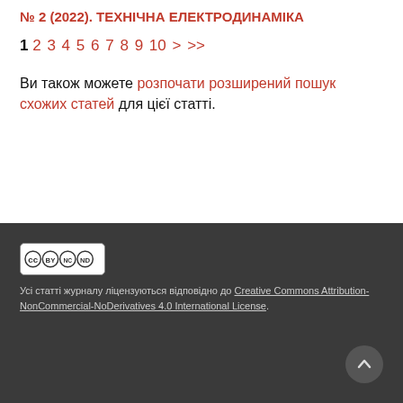№ 2 (2022). ТЕХНІЧНА ЕЛЕКТРОДИНАМІКА
1 2 3 4 5 6 7 8 9 10 > >>
Ви також можете розпочати розширений пошук схожих статей для цієї статті.
Усі статті журналу ліцензуються відповідно до Creative Commons Attribution-NonCommercial-NoDerivatives 4.0 International License.
ПОТОЧНИЙ НОМЕР
ATOM  1.0